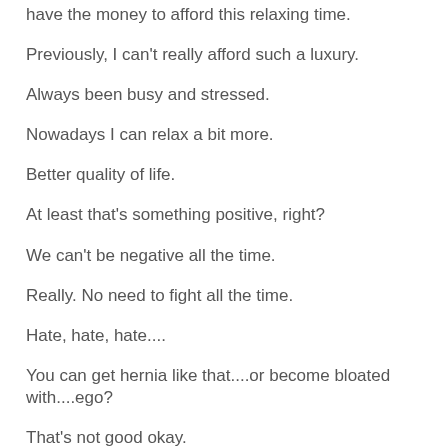have the money to afford this relaxing time.
Previously, I can't really afford such a luxury.
Always been busy and stressed.
Nowadays I can relax a bit more.
Better quality of life.
At least that's something positive, right?
We can't be negative all the time.
Really. No need to fight all the time.
Hate, hate, hate....
You can get hernia like that....or become bloated with....ego?
That's not good okay.